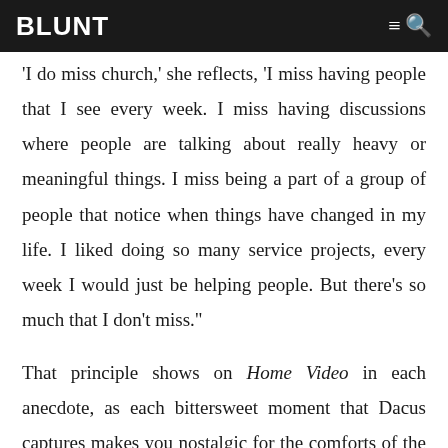BLUNT
'I do miss church,' she reflects, 'I miss having people that I see every week. I miss having discussions where people are talking about really heavy or meaningful things. I miss being a part of a group of people that notice when things have changed in my life. I liked doing so many service projects, every week I would just be helping people. But there’s so much that I don’t miss.”
That principle shows on Home Video in each anecdote, as each bittersweet moment that Dacus captures makes you nostalgic for the comforts of the past despite the brutal lessons you were learning for the first time. You’d